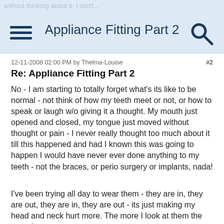Appliance Fitting Part 2
12-11-2008 02:00 PM by Thelma-Louise  #2
Re: Appliance Fitting Part 2
No - I am starting to totally forget what's its like to be normal - not think of how my teeth meet or not, or how to speak or laugh w/o giving it a thought. My mouth just opened and closed, my tongue just moved without thought or pain - I never really thought too much about it till this happened and had I known this was going to happen I would have never ever done anything to my teeth - not the braces, or perio surgery or implants, nada!
I've been trying all day to wear them - they are in, they are out, they are in, they are out - its just making my head and neck hurt more. The more I look at them the more I can see